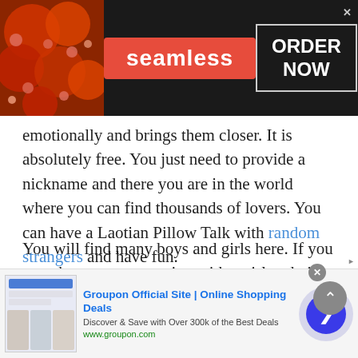[Figure (photo): Seamless food ordering advertisement banner with pizza image on left, Seamless logo in red badge center, and ORDER NOW button on right against dark background]
emotionally and brings them closer. It is absolutely free. You just need to provide a nickname and there you are in the world where you can find thousands of lovers. You can have a Laotian Pillow Talk with random strangers and have fun.
You will find many boys and girls here. If you are a boy start romancing with a girl and vice versa. You will surely enjoy your visit here. By joining this chat room and getting hooked up with a girl, you get into an imaginary w...d
[Figure (screenshot): Groupon Official Site advertisement banner showing website thumbnail, title 'Groupon Official Site | Online Shopping Deals', description 'Discover & Save with Over 300k of the Best Deals', URL www.groupon.com, and a navigation arrow button]